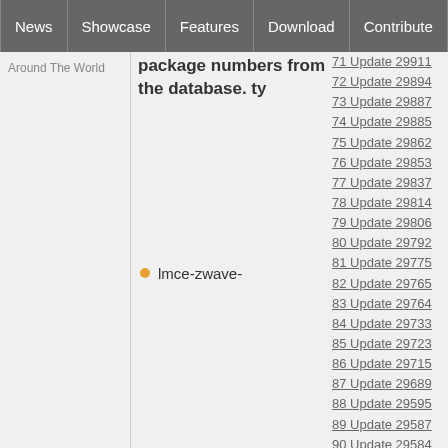News | Showcase | Features | Download | Contribute | Support
Around The World
package numbers from the database. ty
lmce-zwave-
71 Update 29911
72 Update 29894
73 Update 29887
74 Update 29885
75 Update 29862
76 Update 29853
77 Update 29837
78 Update 29814
79 Update 29806
80 Update 29792
81 Update 29775
82 Update 29765
83 Update 29764
84 Update 29733
85 Update 29723
86 Update 29715
87 Update 29689
88 Update 29595
89 Update 29587
90 Update 29584
91 Update 29547